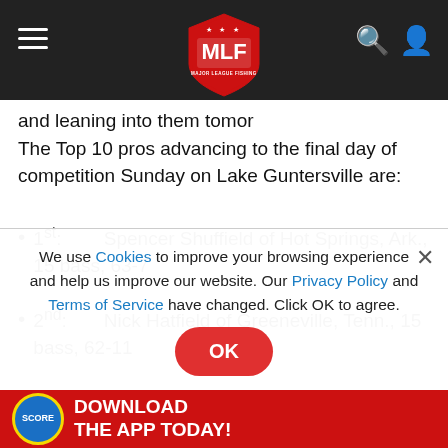MLF Major League Fishing header navigation
and leaning into them tomorrow.
The Top 10 pros advancing to the final day of competition Sunday on Lake Guntersville are:
1st:        Spencer Shuffield of Hot Springs, Ark., 15 bass, 63-7
2nd:        Nick Hatfield of Greeneville, Tenn., 15 bass, 62-11
3rd:        Lane Olson of Forest Grove, Ore., 15 bass, 61-
We use Cookies to improve your browsing experience and help us improve our website. Our Privacy Policy and Terms of Service have changed. Click OK to agree.
[Figure (other): Download the App Today advertisement banner with SCORE badge]